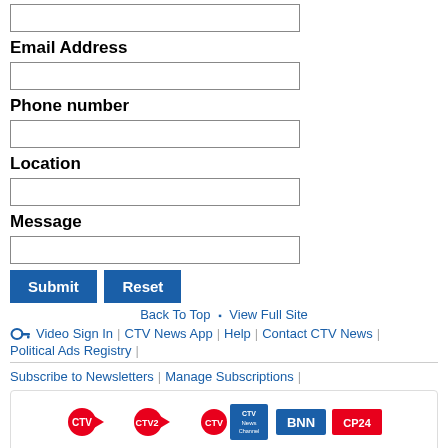Email Address
Phone number
Location
Message
Submit | Reset
Back To Top  ▪  View Full Site
Video Sign In | CTV News App | Help | Contact CTV News | Political Ads Registry |
Subscribe to Newsletters | Manage Subscriptions |
[Figure (logo): CTV, CTV2, CTV News Channel, BNN, CP24 logos]